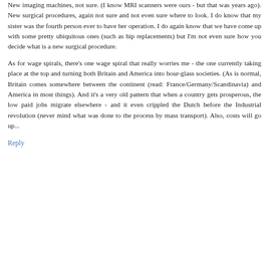New imaging machines, not sure. (I know MRI scanners were ours - but that was years ago). New surgical procedures, again not sure and not even sure where to look. I do know that my sister was the fourth person ever to have her operation. I do again know that we have come up with some pretty ubiquitous ones (such as hip replacements) but I'm not even sure how you decide what is a new surgical procedure.
As for wage spirals, there's one wage spiral that really worries me - the one currently taking place at the top and turning both Britain and America into hour-glass societies. (As is normal, Britain comes somewhere between the continent (read: France/Germany/Scandinavia) and America in most things). And it's a very old pattern that when a country gets prosperous, the low paid jobs migrate elsewhere - and it even crippled the Dutch before the Industrial revolution (never mind what was done to the process by mass transport). Also, costs will go up...
Reply